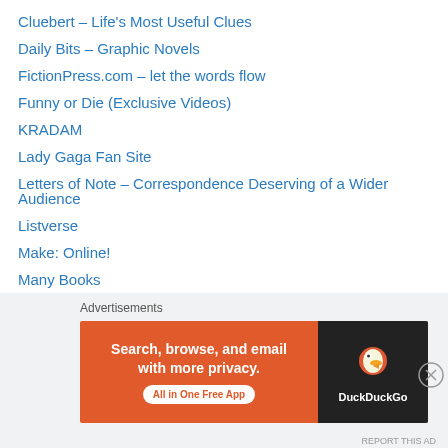Cluebert – Life's Most Useful Clues
Daily Bits – Graphic Novels
FictionPress.com – let the words flow
Funny or Die (Exclusive Videos)
KRADAM
Lady Gaga Fan Site
Letters of Note – Correspondence Deserving of a Wider Audience
Listverse
Make: Online!
Many Books
Michael Jackson Videos
Mighty God King Dot Com
Naive's Guide To Everything in the World
Neatorama
People of Walmart
PhD Comics – Piled Higher and Deeper
[Figure (screenshot): DuckDuckGo advertisement banner: 'Search, browse, and email with more privacy. All in One Free App' with DuckDuckGo logo on dark background]